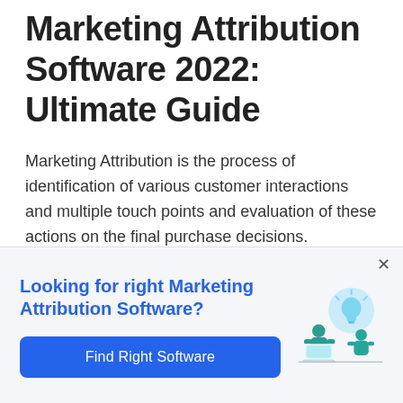Marketing Attribution Software 2022: Ultimate Guide
Marketing Attribution is the process of identification of various customer interactions and multiple touch points and evaluation of these actions on the final purchase decisions. Marketing attribution is a structured process of evaluating how many of the customer interactions, touch points, conditions, causing...
Looking for right Marketing Attribution Software?
Find Right Software
[Figure (illustration): Illustration of two people collaborating with a laptop and a light bulb, in teal/blue color scheme]